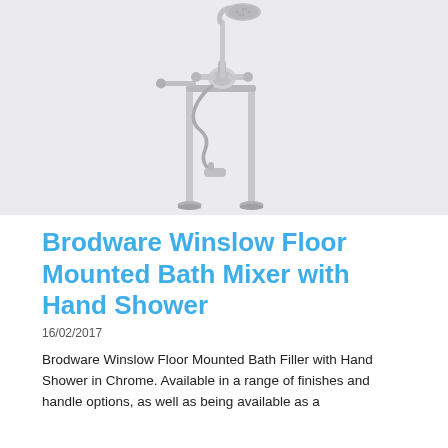[Figure (photo): Floor mounted bath mixer with hand shower in chrome finish. The fixture features two tall floor-standing pipes (legs), a crosshead mixer valve assembly with handles and spout, a flexible shower hose, and an overhead shower head at the top. Rendered on a light grey background.]
Brodware Winslow Floor Mounted Bath Mixer with Hand Shower
16/02/2017
Brodware Winslow Floor Mounted Bath Filler with Hand Shower in Chrome. Available in a range of finishes and handle options, as well as being available as a